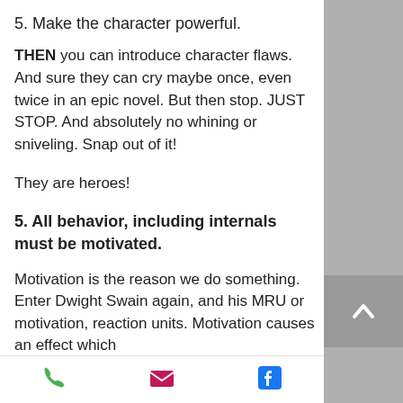5. Make the character powerful.
THEN you can introduce character flaws. And sure they can cry maybe once, even twice in an epic novel. But then stop. JUST STOP. And absolutely no whining or sniveling. Snap out of it!
They are heroes!
5. All behavior, including internals must be motivated.
Motivation is the reason we do something. Enter Dwight Swain again, and his MRU or motivation, reaction units. Motivation causes an effect which